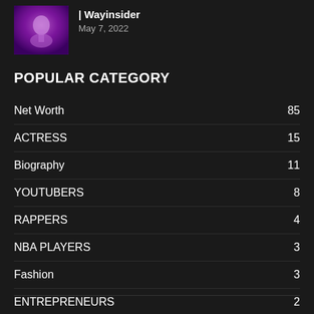[Figure (photo): Thumbnail image of a performer on stage with purple/magenta lighting background]
| Wayinsider
May 7, 2022
POPULAR CATEGORY
Net Worth 85
ACTRESS 15
Biography 11
YOUTUBERS 8
RAPPERS 4
NBA PLAYERS 3
Fashion 3
ENTREPRENEURS 2